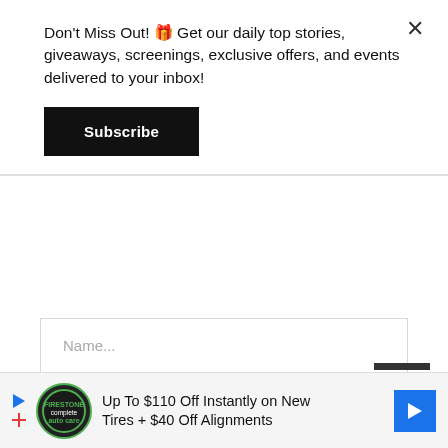Don't Miss Out! 🎁 Get our daily top stories, giveaways, screenings, exclusive offers, and events delivered to your inbox!
Subscribe
Name...
Email...
Website...
LEAVE A COMMENT
[Figure (screenshot): Advertisement banner: Up To $110 Off Instantly on New Tires + $40 Off Alignments with Firestone auto logo and blue navigation arrow icon]